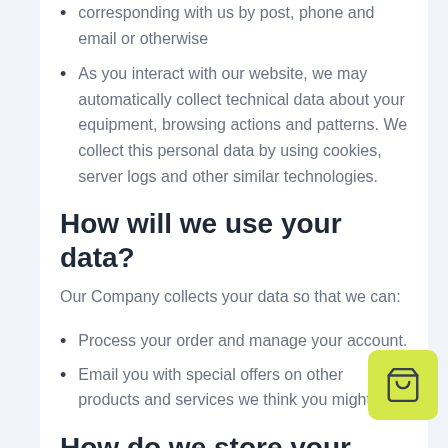corresponding with us by post, phone and email or otherwise
As you interact with our website, we may automatically collect technical data about your equipment, browsing actions and patterns. We collect this personal data by using cookies, server logs and other similar technologies.
How will we use your data?
Our Company collects your data so that we can:
Process your order and manage your account.
Email you with special offers on other products and services we think you might like.
How do we store your data?